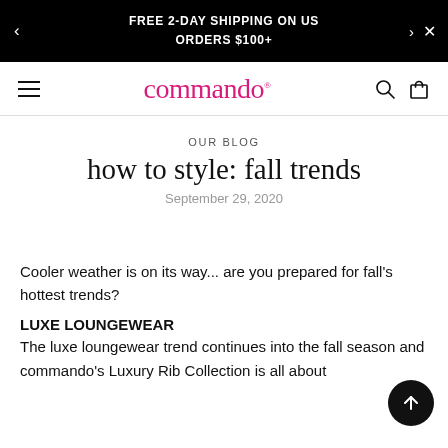FREE 2-DAY SHIPPING ON US ORDERS $100+
[Figure (screenshot): Commando brand navigation bar with hamburger menu, logo in pink, search and bag icons]
OUR BLOG
how to style: fall trends
September 29, 2020
Cooler weather is on its way... are you prepared for fall's hottest trends?
LUXE LOUNGEWEAR
The luxe loungewear trend continues into the fall season and commando's Luxury Rib Collection is all about